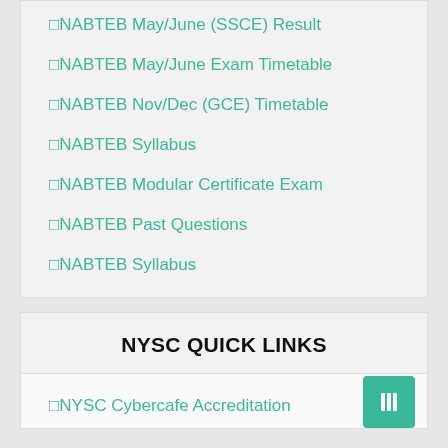□NABTEB May/June (SSCE) Result
□NABTEB May/June Exam Timetable
□NABTEB Nov/Dec (GCE) Timetable
□NABTEB Syllabus
□NABTEB Modular Certificate Exam
□NABTEB Past Questions
□NABTEB Syllabus
NYSC QUICK LINKS
□NYSC Cybercafe Accreditation